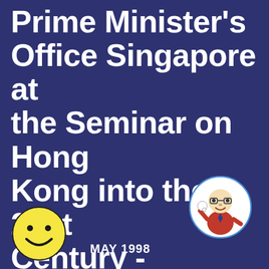Prime Minister's Office Singapore at the Seminar on Hong Kong into the 21st Century - Maintaining Integrity in the Civil Service
[Figure (illustration): Circular smiley face emoji with yellow background and black smile]
[Figure (illustration): Circular logo with a cartoon bear/professor character in a suit waving]
MAY 1998